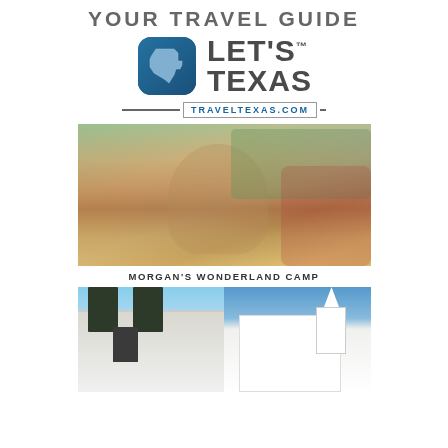YOUR TRAVEL GUIDE
[Figure (logo): Let's Texas logo with Texas state outline in blue rounded square icon and 'LET'S TEXAS' text in bold gray]
TRAVELTEXAS.COM
[Figure (photo): Child wearing blue helmet riding a horse, being assisted by an adult in a red shirt, with other children and spectators in background at Morgan's Wonderland Camp]
MORGAN'S WONDERLAND CAMP
[Figure (photo): Split image showing a white Victorian-style building with dark shutters and a white church with steeple flying American and Texas flags against blue sky]